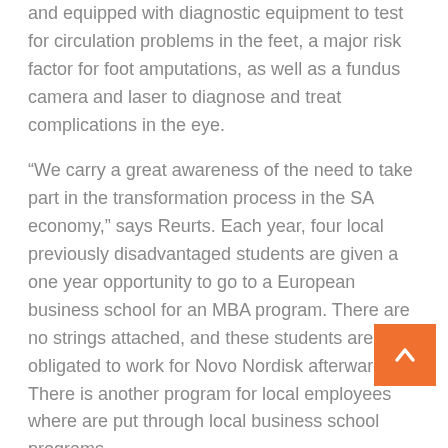and equipped with diagnostic equipment to test for circulation problems in the feet, a major risk factor for foot amputations, as well as a fundus camera and laser to diagnose and treat complications in the eye.
“We carry a great awareness of the need to take part in the transformation process in the SA economy,” says Reurts. Each year, four local previously disadvantaged students are given a one year opportunity to go to a European business school for an MBA program. There are no strings attached, and these students are not obligated to work for Novo Nordisk afterwards. There is another program for local employees where are put through local business school programs.
The company’s philanthropy extends outside the organization and outside pure pecuniary ambitions. Each employee takes part in at least one social responsibility